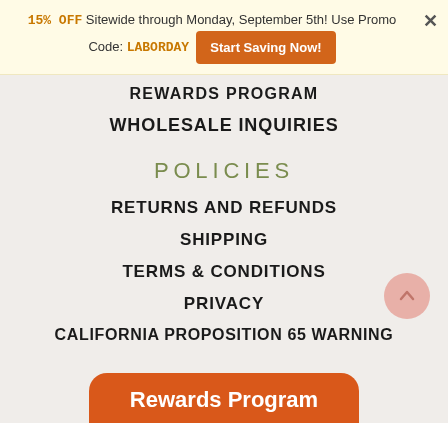15% OFF Sitewide through Monday, September 5th! Use Promo Code: LABORDAY  Start Saving Now!
REWARDS PROGRAM
WHOLESALE INQUIRIES
POLICIES
RETURNS AND REFUNDS
SHIPPING
TERMS & CONDITIONS
PRIVACY
CALIFORNIA PROPOSITION 65 WARNING
Rewards Program